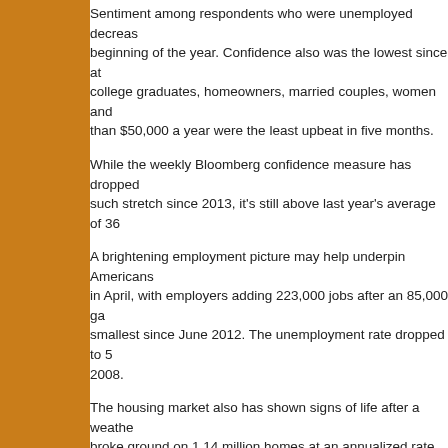Sentiment among respondents who were unemployed decreased beginning of the year. Confidence also was the lowest since at college graduates, homeowners, married couples, women and than $50,000 a year were the least upbeat in five months.
While the weekly Bloomberg confidence measure has dropped such stretch since 2013, it's still above last year's average of 36
A brightening employment picture may help underpin Americans in April, with employers adding 223,000 jobs after an 85,000 ga smallest since June 2012. The unemployment rate dropped to 5 2008.
The housing market also has shown signs of life after a weather broke ground on 1.14 million homes at an annualized rate last m 2007 and up 20.2 percent from March, figures from the Comme It was the single-biggest monthly surge since 1991.
THE PHILADELPHIA FED BUSINESS OUTLOOK SURVEY sh for that region. The respondents' report on inflation is somewhat developments. Here's Econoday's summary:
Activity in the Mid-Atlantic manufacturing sector is slow b